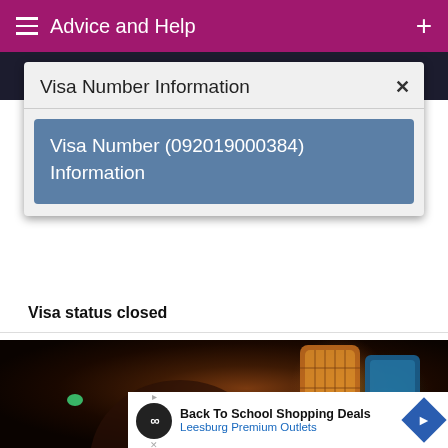Advice and Help
Visa Number Information
Visa Number (092019000384) Information
Visa status closed
[Figure (photo): Night photo of ornamental Arabic/Moroccan lanterns glowing in dark background]
Back To School Shopping Deals
Leesburg Premium Outlets